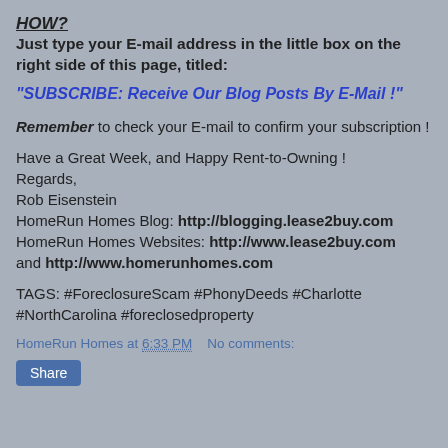HOW?
Just type your E-mail address in the little box on the right side of this page, titled:
"SUBSCRIBE: Receive Our Blog Posts By E-Mail !"
Remember to check your E-mail to confirm your subscription !
Have a Great Week, and Happy Rent-to-Owning !
Regards,
Rob Eisenstein
HomeRun Homes Blog: http://blogging.lease2buy.com
HomeRun Homes Websites: http://www.lease2buy.com and http://www.homerunhomes.com
TAGS: #ForeclosureScam #PhonyDeeds #Charlotte #NorthCarolina #foreclosedproperty
HomeRun Homes at 6:33 PM    No comments:
Share